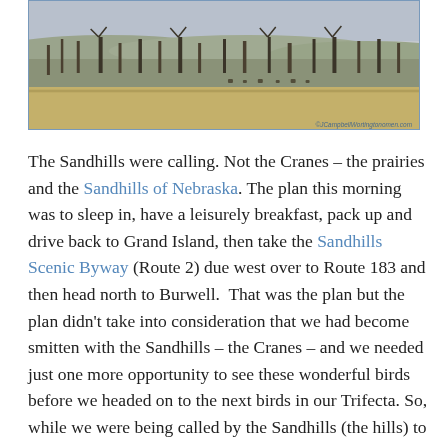[Figure (photo): Landscape photo of the Nebraska Sandhills showing flat prairies with dry golden grasses in the foreground, bare trees in the middle ground, and a grey overcast sky. Photo credit: ©JCampbellWortingtonomen.com]
The Sandhills were calling. Not the Cranes – the prairies and the Sandhills of Nebraska. The plan this morning was to sleep in, have a leisurely breakfast, pack up and drive back to Grand Island, then take the Sandhills Scenic Byway (Route 2) due west over to Route 183 and then head north to Burwell.  That was the plan but the plan didn't take into consideration that we had become smitten with the Sandhills – the Cranes – and we needed just one more opportunity to see these wonderful birds before we headed on to the next birds in our Trifecta. So, while we were being called by the Sandhills (the hills) to leave, we were also being lured by the Sandhills (the birds) to stay.